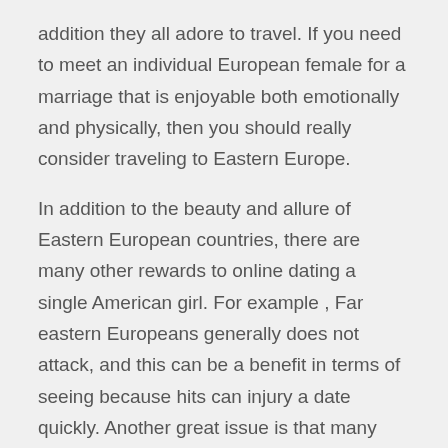addition they all adore to travel. If you need to meet an individual European female for a marriage that is enjoyable both emotionally and physically, then you should really consider traveling to Eastern Europe.
In addition to the beauty and allure of Eastern European countries, there are many other rewards to online dating a single American girl. For example , Far eastern Europeans generally does not attack, and this can be a benefit in terms of seeing because hits can injury a date quickly. Another great issue is that many people who travel around to Eastern European countries are interested in discovering new ethnicities and food. This can also be a benefit in terms of dating since you will get the opportunity to try out different foods and repas. Therefore , you may discover that the very best online